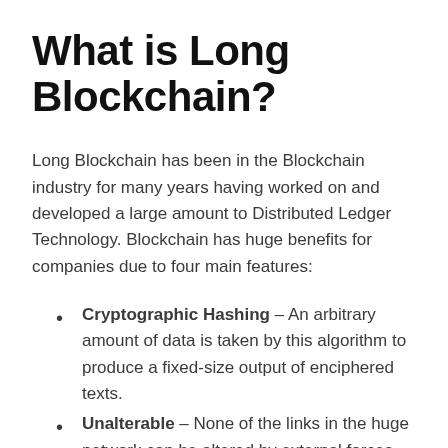What is Long Blockchain?
Long Blockchain has been in the Blockchain industry for many years having worked on and developed a large amount to Distributed Ledger Technology. Blockchain has huge benefits for companies due to four main features:
Cryptographic Hashing – An arbitrary amount of data is taken by this algorithm to produce a fixed-size output of enciphered texts.
Unalterable – None of the links in the huge network can be altered by external forces